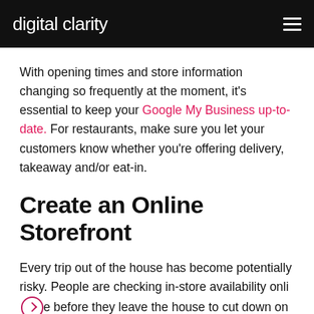digital clarity
With opening times and store information changing so frequently at the moment, it's essential to keep your Google My Business up-to-date. For restaurants, make sure you let your customers know whether you're offering delivery, takeaway and/or eat-in.
Create an Online Storefront
Every trip out of the house has become potentially risky. People are checking in-store availability online before they leave the house to cut down on